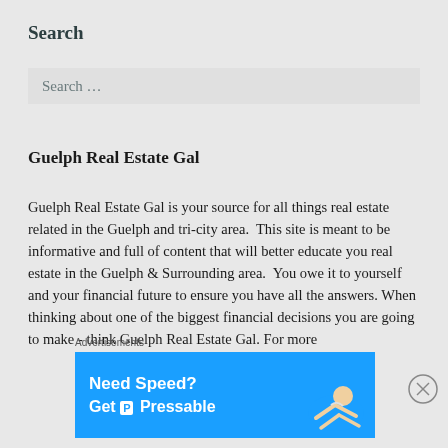Search
Search …
Guelph Real Estate Gal
Guelph Real Estate Gal is your source for all things real estate related in the Guelph and tri-city area.  This site is meant to be informative and full of content that will better educate you real estate in the Guelph & Surrounding area.  You owe it to yourself and your financial future to ensure you have all the answers. When thinking about one of the biggest financial decisions you are going to make - think Guelph Real Estate Gal. For more
Advertisements
[Figure (other): Pressable advertisement banner: 'Need Speed? Get Pressable' on a blue background with a person flying/sliding figure on the right.]